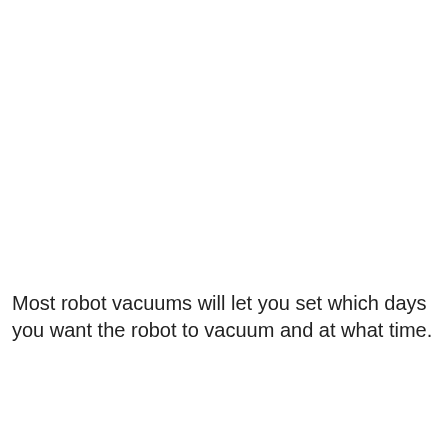Most robot vacuums will let you set which days you want the robot to vacuum and at what time.